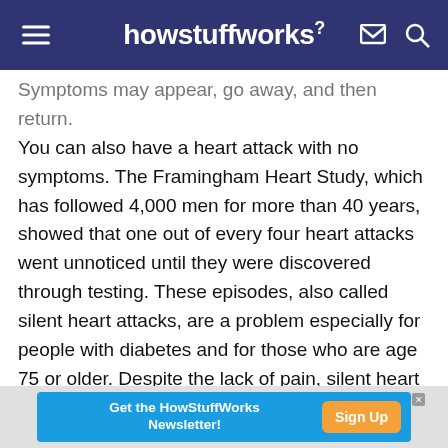howstuffworks
Symptoms may appear, go away, and then return. You can also have a heart attack with no symptoms. The Framingham Heart Study, which has followed 4,000 men for more than 40 years, showed that one out of every four heart attacks went unnoticed until they were discovered through testing. These episodes, also called silent heart attacks, are a problem especially for people with diabetes and for those who are age 75 or older. Despite the lack of pain, silent heart attacks can damage the heart or even result in death.
[Figure (screenshot): Advertisement banner: Get the HowStuffWorks Newsletter! with blue background and orange Sign Up button]